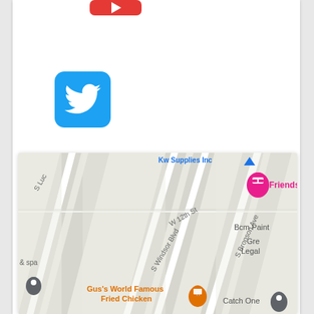[Figure (logo): YouTube red button icon (partial, cropped at top)]
[Figure (logo): Twitter bird icon on blue rounded square background]
[Figure (map): Google Maps screenshot showing streets including W 12th St, S Windsor Blvd, S Bronson Ave, S Luc road. Markers for Friends (pink/hotel), Gus's World Famous Fried Chicken (orange), Catch One (dark blue), and a location pin (dark blue). Labels: Bcm Paint, Gre Legal, spa, Kw Supplies Inc with blue triangle marker.]